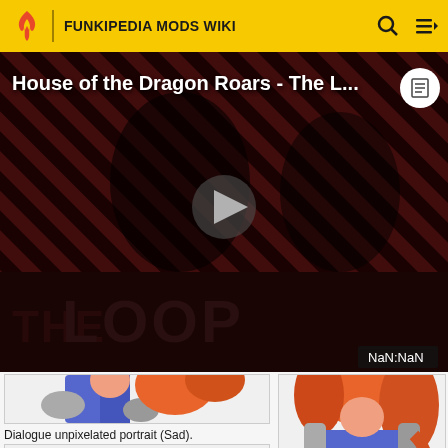FUNKIPEDIA MODS WIKI
[Figure (screenshot): Video player showing 'House of the Dragon Roars - The L...' with a dark background featuring diagonal red/black stripes, two dark figures, a play button in the center, THE LOOP logo at bottom left, NaN:NaN timestamp at bottom right, and a document icon at top right.]
[Figure (illustration): Dialogue unpixelated portrait (Sad) - anime-style character in blue outfit, partial view showing lower body]
Dialogue unpixelated portrait (Sad).
[Figure (illustration): Dialogue unpixelated portrait (Smiling) - anime-style character with orange hair in blue outfit]
Dialogue unpixelated portrait (Smiling).
[Figure (illustration): Partial view of another anime-style character portrait with orange/pink hair, cropped at bottom of page]